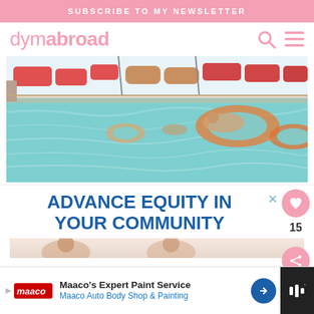SUBSCRIBE TO MY NEWSLETTER
dymabroad
[Figure (photo): Outdoor pool scene with orange/pink inflatable rings, red lounge chairs, and a person floating on an inflatable in turquoise water]
[Figure (infographic): Advertisement box with blue bold text reading ADVANCE EQUITY IN YOUR COMMUNITY with an X close button]
[Figure (photo): Partial view of people at the bottom of the ad area]
[Figure (infographic): Maaco advertisement banner at bottom: Maaco's Expert Paint Service, Maaco Auto Body Shop & Painting]